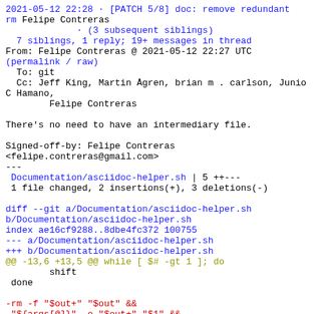2021-05-12 22:28 · [PATCH 5/8] doc: remove redundant
rm Felipe Contreras
             · (3 subsequent siblings)
  7 siblings, 1 reply; 19+ messages in thread
From: Felipe Contreras @ 2021-05-12 22:27 UTC
(permalink / raw)
  To: git
  Cc: Jeff King, Martin Ågren, brian m . carlson, Junio C Hamano,
        Felipe Contreras

There's no need to have an intermediary file.

Signed-off-by: Felipe Contreras
<felipe.contreras@gmail.com>
---
 Documentation/asciidoc-helper.sh | 5 ++---
 1 file changed, 2 insertions(+), 3 deletions(-)

diff --git a/Documentation/asciidoc-helper.sh
b/Documentation/asciidoc-helper.sh
index ae16cf9288..8dbe4fc372 100755
--- a/Documentation/asciidoc-helper.sh
+++ b/Documentation/asciidoc-helper.sh
@@ -13,6 +13,5 @@ while [ $# -gt 1 ]; do
         shift
  done

-rm -f "$out+" "$out" &&
-"${args[@]}" -o "$out+" "$1" &&